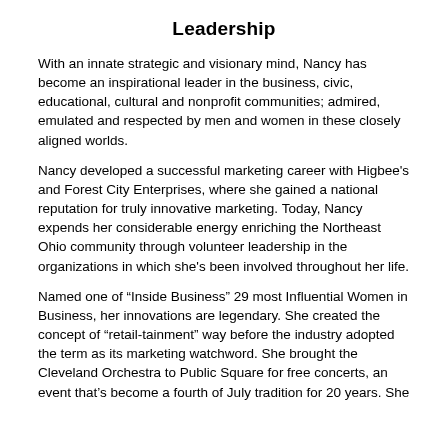Leadership
With an innate strategic and visionary mind, Nancy has become an inspirational leader in the business, civic, educational, cultural and nonprofit communities; admired, emulated and respected by men and women in these closely aligned worlds.
Nancy developed a successful marketing career with Higbee's and Forest City Enterprises, where she gained a national reputation for truly innovative marketing. Today, Nancy expends her considerable energy enriching the Northeast Ohio community through volunteer leadership in the organizations in which she's been involved throughout her life.
Named one of “Inside Business” 29 most Influential Women in Business, her innovations are legendary. She created the concept of “retail-tainment” way before the industry adopted the term as its marketing watchword. She brought the Cleveland Orchestra to Public Square for free concerts, an event that’s become a fourth of July tradition for 20 years. She